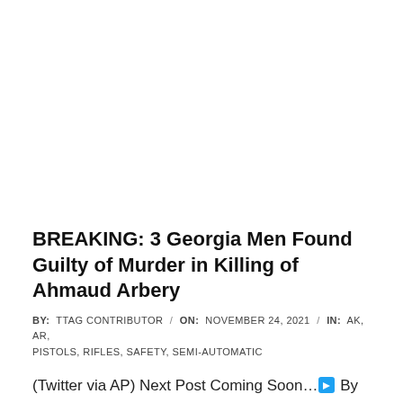BREAKING: 3 Georgia Men Found Guilty of Murder in Killing of Ahmaud Arbery
BY: TTAG CONTRIBUTOR / ON: NOVEMBER 24, 2021 / IN: AK, AR, PISTOLS, RIFLES, SAFETY, SEMI-AUTOMATIC
(Twitter via AP) Next Post Coming Soon... By Russ Bynum, AP All three men charged in the death of Ahmaud Arbery were convicted of murder Wednesday in the fatal shooting that became